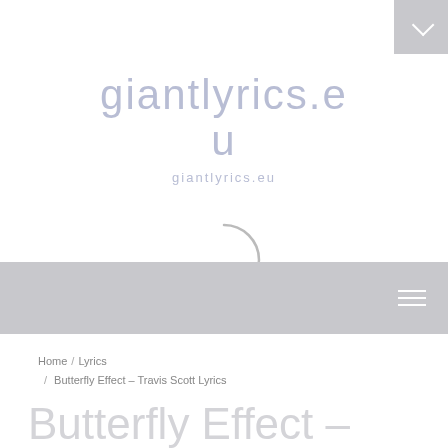[Figure (screenshot): Top-right corner button with downward chevron arrow on gray background]
giantlyrics.eu
giantlyrics.eu
[Figure (other): Loading spinner arc (partial circle)]
[Figure (other): Gray navigation bar with hamburger menu icon (three horizontal lines) on the right]
Home / Lyrics / Butterfly Effect – Travis Scott Lyrics
Butterfly Effect –